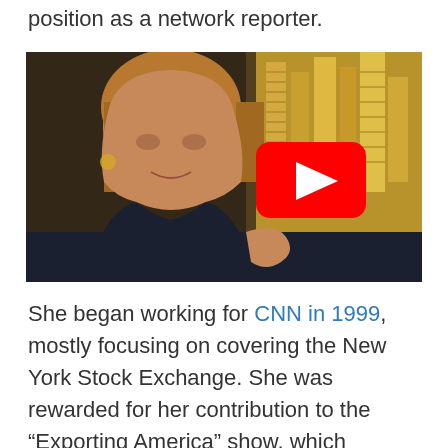position as a network reporter.
[Figure (photo): A woman with blonde/brown hair in a dark blazer speaking on a CNN studio set with city skyline in background. A YouTube play button overlay is visible in the center-right of the image.]
She began working for CNN in 1999, mostly focusing on covering the New York Stock Exchange. She was rewarded for her contribution to the “Exporting America” show, which covered the outsourcing of American missions overseas, being given an